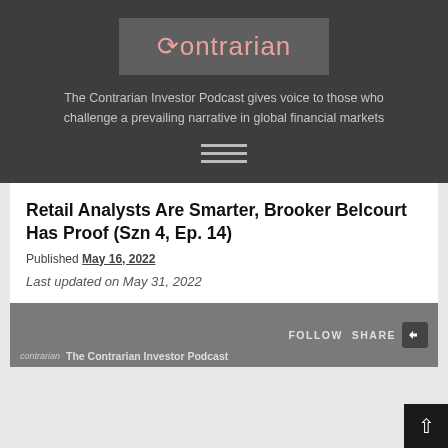[Figure (logo): Contrarian podcast logo — dark grey box with pink 'contrarian' wordmark with a circular arrow symbol]
The Contrarian Investor Podcast gives voice to those who challenge a prevailing narrative in global financial markets
[Figure (other): Hamburger menu icon — three horizontal white lines]
Retail Analysts Are Smarter, Brooker Belcourt Has Proof (Szn 4, Ep. 14)
Published May 16, 2022
Last updated on May 31, 2022
[Figure (screenshot): Podcast embed player widget showing FOLLOW SHARE controls and 'The Contrarian Investor Podcast' label at bottom with contrarian logo]